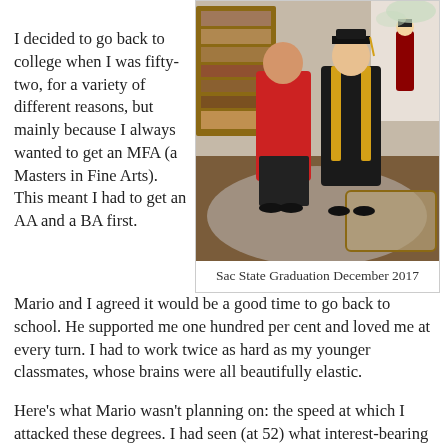I decided to go back to college when I was fifty-two, for a variety of different reasons, but mainly because I always wanted to get an MFA (a Masters in Fine Arts). This meant I had to get an AA and a BA first.
[Figure (photo): Two people standing together indoors, one in a graduation gown with cap and gold stole, the other in a red shirt, in a decorated room.]
Sac State Graduation December 2017
Mario and I agreed it would be a good time to go back to school. He supported me one hundred per cent and loved me at every turn. I had to work twice as hard as my younger classmates, whose brains were all beautifully elastic.
Here’s what Mario wasn’t planning on: the speed at which I attacked these degrees. I had seen (at 52) what interest-bearing student loans did to our children and I knew the